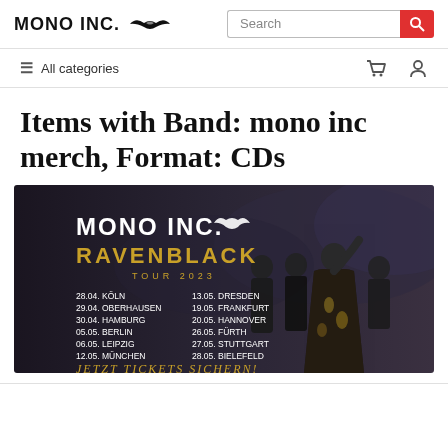MONO INC.
Items with Band: mono inc merch, Format: CDs
[Figure (photo): Mono Inc. Ravenblack Tour 2023 promotional banner showing the band members in dark gothic clothing with tour dates listed: 28.04 Köln, 29.04 Oberhausen, 30.04 Hamburg, 05.05 Berlin, 06.05 Leipzig, 12.05 München, 13.05 Dresden, 19.05 Frankfurt, 20.05 Hannover, 26.05 Fürth, 27.05 Stuttgart, 28.05 Bielefeld. Text at bottom: JETZT TICKETS SICHERN!]